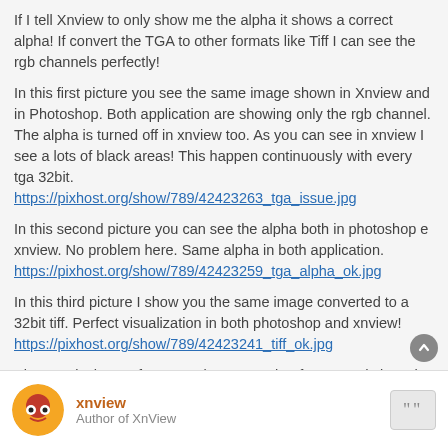If I tell Xnview to only show me the alpha it shows a correct alpha! If convert the TGA to other formats like Tiff I can see the rgb channels perfectly!
In this first picture you see the same image shown in Xnview and in Photoshop. Both application are showing only the rgb channel. The alpha is turned off in xnview too. As you can see in xnview I see a lots of black areas! This happen continuously with every tga 32bit.
https://pixhost.org/show/789/42423263_tga_issue.jpg
In this second picture you can see the alpha both in photoshop e xnview. No problem here. Same alpha in both application.
https://pixhost.org/show/789/42423259_tga_alpha_ok.jpg
In this third picture I show you the same image converted to a 32bit tiff. Perfect visualization in both photoshop and xnview!
https://pixhost.org/show/789/42423241_tiff_ok.jpg
Please! Fix the tga format! I always use that format and since the last version of Xnview I always have to use photoshop to see my tga instead!
xnview
Author of XnView